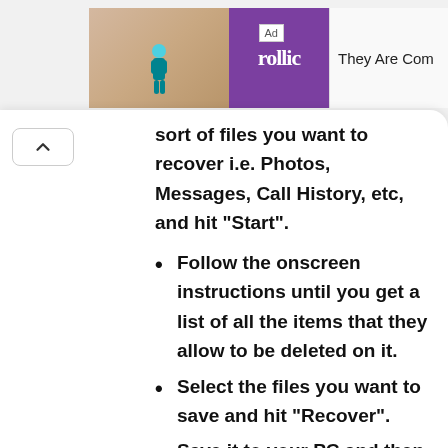[Figure (screenshot): Advertisement banner showing a mobile game ad with purple Rollic logo and text 'They Are Com']
sort of files you want to recover i.e. Photos, Messages, Call History, etc, and hit “Start”.
Follow the onscreen instructions until you get a list of all the items that they allow to be deleted on it.
Select the files you want to save and hit “Recover”.
Save it to your PC and then transfer it to your OnePlus Nord in apt format and